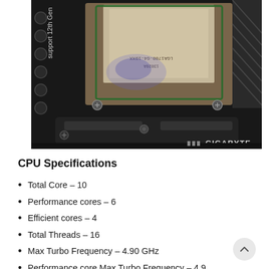[Figure (photo): Close-up photograph of an Intel 12th Gen CPU installed in a Gigabyte motherboard socket, showing the CPU, retention bracket, screws, and partial motherboard label reading 'GIGABYTE']
CPU Specifications
Total Core – 10
Performance cores – 6
Efficient cores – 4
Total Threads – 16
Max Turbo Frequency – 4.90 GHz
Performance core Max Turbo Frequency – 4.9 GHz